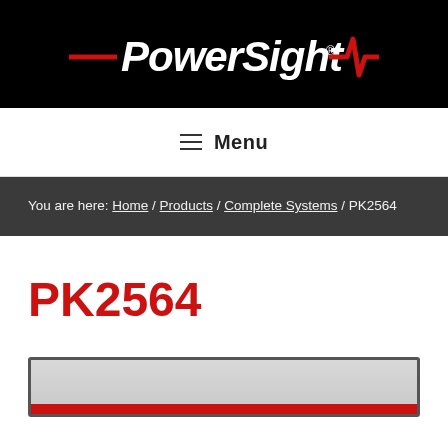PowerSight
≡ Menu
You are here: Home / Products / Complete Systems / PK2564
PK2564
[Figure (screenshot): Bottom portion of a product image box with gray background and red stripe, partially visible at the bottom of the page]